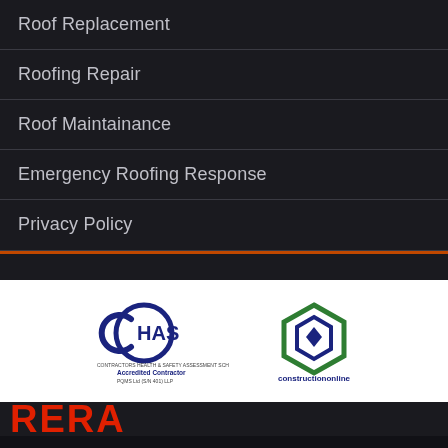Roof Replacement
Roofing Repair
Roof Maintainance
Emergency Roofing Response
Privacy Policy
[Figure (logo): CHAS Accredited Contractor logo and Constructiononline logo side by side on white background]
We use cookies to ensure that we give you the best experience on our website. If you continue to use this site we will assume that you are happy with it.
Ok